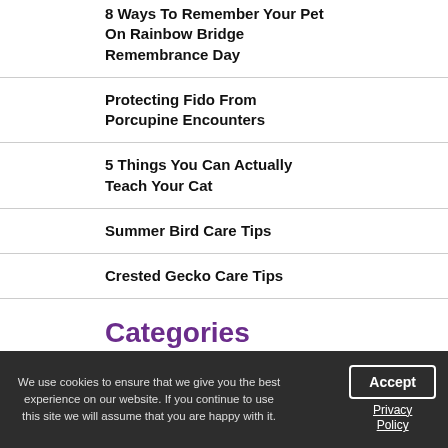8 Ways To Remember Your Pet On Rainbow Bridge Remembrance Day
Protecting Fido From Porcupine Encounters
5 Things You Can Actually Teach Your Cat
Summer Bird Care Tips
Crested Gecko Care Tips
Categories
Bird News (1)
Bird Health (2)
Bird Care (2)
We use cookies to ensure that we give you the best experience on our website. If you continue to use this site we will assume that you are happy with it.